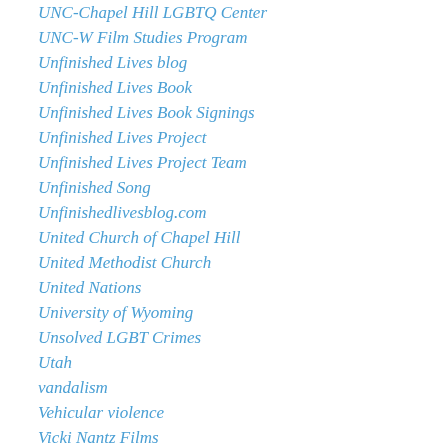UNC-Chapel Hill LGBTQ Center
UNC-W Film Studies Program
Unfinished Lives blog
Unfinished Lives Book
Unfinished Lives Book Signings
Unfinished Lives Project
Unfinished Lives Project Team
Unfinished Song
Unfinishedlivesblog.com
United Church of Chapel Hill
United Methodist Church
United Nations
University of Wyoming
Unsolved LGBT Crimes
Utah
vandalism
Vehicular violence
Vicki Nantz Films
Victory Fund
Vigil